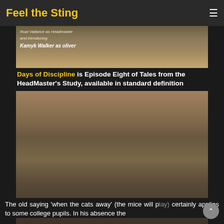Feel the Sting
[Figure (photo): Top banner image from a video with text overlay showing cast names including 'Rual Vallance' and 'Kamyk Walker']
Days of Discipline is Episode Eight of Tales from the HeadMaster's Study, available in standard definition
[Figure (photo): Main scene photo showing characters in a study room setting]
The old saying 'when the cats away' (the mice will play) certainly applies to some college pupils. In his absence the